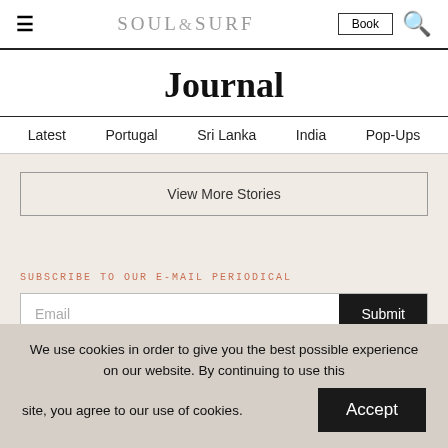SOUL&SURF — Book — Search
Journal
Latest  Portugal  Sri Lanka  India  Pop-Ups
View More Stories
SUBSCRIBE TO OUR E-MAIL PERIODICAL
Email  Submit
We use cookies in order to give you the best possible experience on our website. By continuing to use this site, you agree to our use of cookies.  Accept